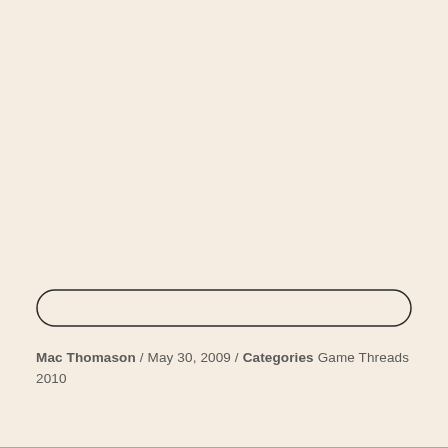[Figure (other): Search input bar with rounded corners on a cream/beige background]
Mac Thomason / May 30, 2009 / Categories Game Threads 2010